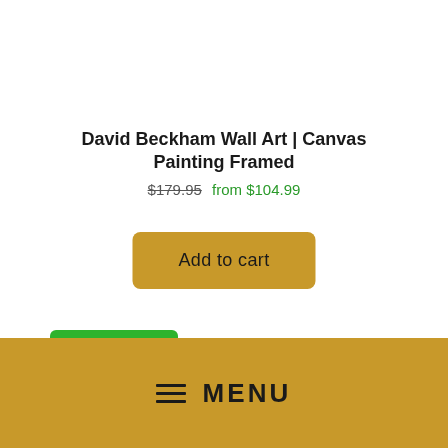David Beckham Wall Art | Canvas Painting Framed
$179.95  from $104.99
Add to cart
Save $39.96
≡  MENU